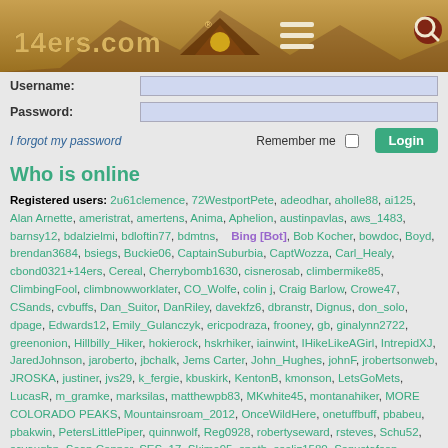[Figure (logo): 14ers.com logo with mountain graphic and hamburger menu icon on tan/brown background header bar, with search icon top right]
Username:
Password:
I forgot my password  Remember me  Login
Who is online
Registered users: 2u61clemence, 72WestportPete, adeodhar, aholle88, ai125, Alan Arnette, ameristrat, amertens, Anima, Aphelion, austinpavlas, aws_1483, barnsy12, bdalzielmi, bdloftin77, bdmtns, Bing [Bot], Bob Kocher, bowdoc, Boyd, brendan3684, bsiegs, Buckie06, CaptainSuburbia, CaptWozza, Carl_Healy, cbond0321+14ers, Cereal, Cherrybomb1630, cisnerosab, climbermike85, ClimbingFool, climbnowworklater, CO_Wolfe, colin j, Craig Barlow, Crowe47, CSands, cvbuffs, Dan_Suitor, DanRiley, davekfz6, dbranstr, Dignus, don_solo, dpage, Edwards12, Emily_Gulanczyk, ericpodraza, frooney, gb, ginalynn2722, greenonion, Hillbilly_Hiker, hokierock, hskrhiker, iainwint, IHikeLikeAGirl, IntrepidXJ, JaredJohnson, jaroberto, jbchalk, Jems Carter, John_Hughes, johnF, jrobertsonweb, JROSKA, justiner, jvs29, k_fergie, kbuskirk, KentonB, kmonson, LetsGoMets, LucasR, m_gramke, marksilas, matthewpb83, MKwhite45, montanahiker, MORE COLORADO PEAKS, Mountainsroam_2012, OnceWildHere, onetuffbuff, pbabeu, pbakwin, PetersLittlePiper, quinnwolf, Reg0928, robertyseward, rsteves, Schu52, scvaughn, Sean Connor, SES_17, Skimo95, speth, sseliz1580, Ssgustafson, stephirwin, stevek94, SummitingZaski, summitrunner, supranihilest, terribletigzy, theloneespresso, Thunder Dan, TomPierce, trailrunnersteven, TravelingMatt, TRIPLE D MAN, two lunches, viejo, WildWanderer, wyosmeenk, xcrunner365, yaktoleft13
Legend: Administrators, Global moderators
Statistics